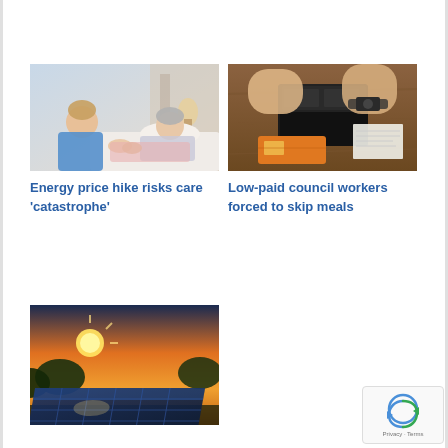[Figure (photo): Nurse holding hands with elderly patient in bed]
Energy price hike risks care ‘catastrophe’
[Figure (photo): Person opening empty wallet on wooden table with credit cards]
Low-paid council workers forced to skip meals
[Figure (photo): Solar panels with sunset and trees in background]